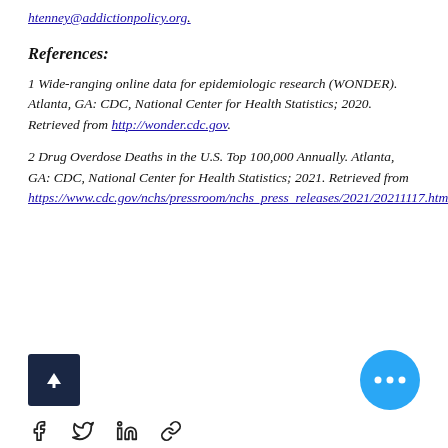htenney@addictionpolicy.org.
References:
1 Wide-ranging online data for epidemiologic research (WONDER). Atlanta, GA: CDC, National Center for Health Statistics; 2020. Retrieved from http://wonder.cdc.gov.
2 Drug Overdose Deaths in the U.S. Top 100,000 Annually. Atlanta, GA: CDC, National Center for Health Statistics; 2021. Retrieved from https://www.cdc.gov/nchs/pressroom/nchs_press_releases/2021/20211117.htm.